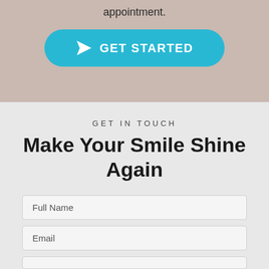appointment.
[Figure (other): Cyan rounded button with paper plane icon and text GET STARTED]
GET IN TOUCH
Make Your Smile Shine Again
Full Name
Email